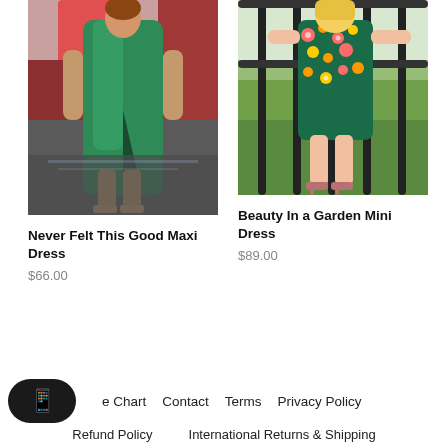[Figure (photo): Woman wearing a green satin maxi dress with a slit, standing outdoors in front of a colorful mural backdrop]
[Figure (photo): Woman wearing a floral mini dress, standing on a balcony with metal railing and green trees in background]
Never Felt This Good Maxi Dress
$66.00
Beauty In a Garden Mini Dress
$89.00
e Chart   Contact   Terms   Privacy Policy   Refund Policy   International Returns & Shipping